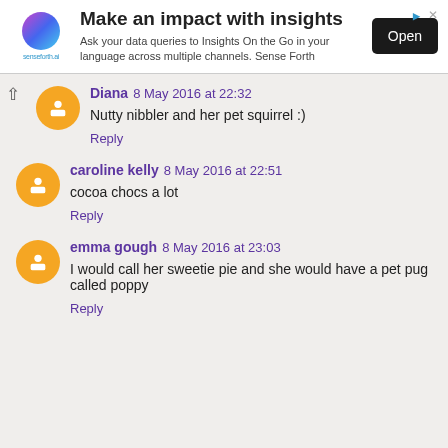[Figure (screenshot): Advertisement banner for senseforth.ai with logo, title 'Make an impact with insights', description text, and an Open button]
Diana 8 May 2016 at 22:32
Nutty nibbler and her pet squirrel :)
Reply
caroline kelly 8 May 2016 at 22:51
cocoa chocs a lot
Reply
emma gough 8 May 2016 at 23:03
I would call her sweetie pie and she would have a pet pug called poppy
Reply